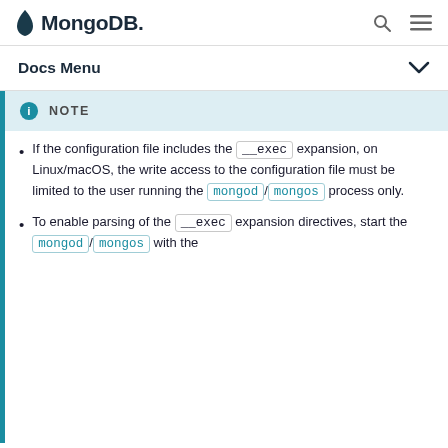MongoDB
Docs Menu
If the configuration file includes the __exec expansion, on Linux/macOS, the write access to the configuration file must be limited to the user running the mongod/mongos process only.
To enable parsing of the __exec expansion directives, start the mongod/mongos with the